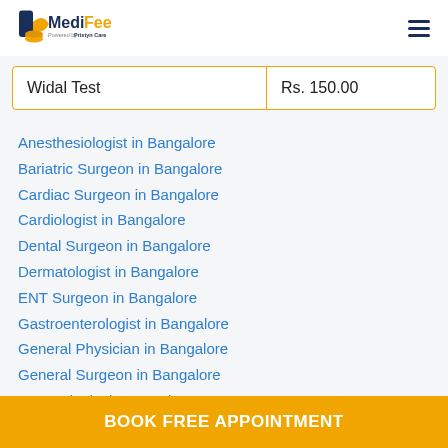MediFee - Powered by Pristyn Care
|  |  |
| --- | --- |
| Widal Test | Rs. 150.00 |
Anesthesiologist in Bangalore
Bariatric Surgeon in Bangalore
Cardiac Surgeon in Bangalore
Cardiologist in Bangalore
Dental Surgeon in Bangalore
Dermatologist in Bangalore
ENT Surgeon in Bangalore
Gastroenterologist in Bangalore
General Physician in Bangalore
General Surgeon in Bangalore
Gynecologist in Bangalore
BOOK FREE APPOINTMENT